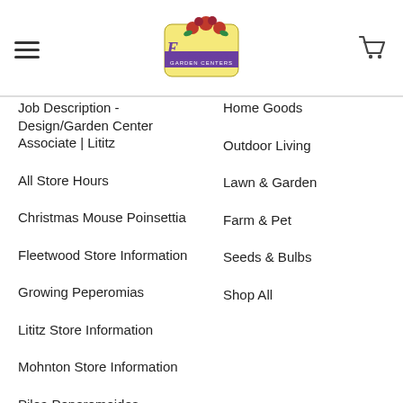Esbenshade's Garden Centers
Job Description - Design/Garden Center Associate | Lititz
Home Goods
All Store Hours
Outdoor Living
Christmas Mouse Poinsettia
Lawn & Garden
Fleetwood Store Information
Farm & Pet
Growing Peperomias
Seeds & Bulbs
Lititz Store Information
Shop All
Mohnton Store Information
Pilea Peperomoides
Salvia BODACIOUS® Hummingbird Falls
Celosia Varieties, Care, & Uses